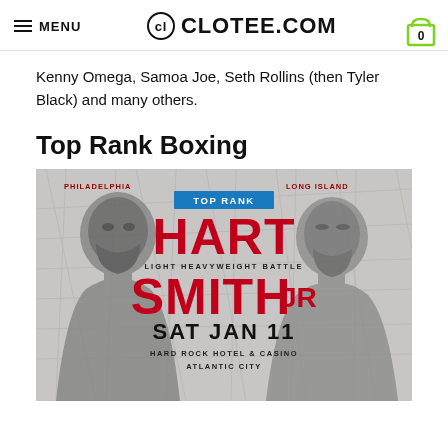MENU | CL CLOTEE.COM | 0
Kenny Omega, Samoa Joe, Seth Rollins (then Tyler Black) and many others.
Top Rank Boxing
[Figure (photo): Top Rank boxing promotional poster for Hart vs Smith Jr, Light Heavyweight Battle, SAT JAN 11, Hard Rock Hotel & Casino, Atlantic City. Features headshots of two fighters against a map background.]